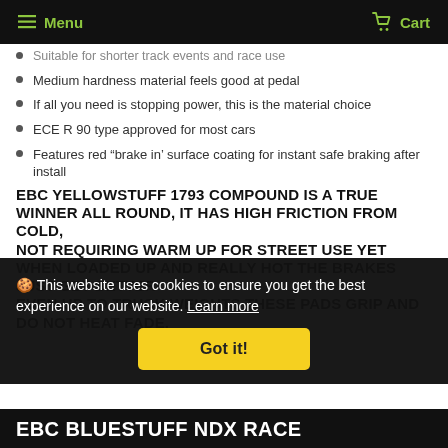Menu  Cart
Suitable for shorter track events and race use
Medium hardness material feels good at pedal
If all you need is stopping power, this is the material choice
ECE R 90 type approved for most cars
Features red “brake in’ surface coating for instant safe braking after install
EBC YELLOWSTUFF 1793 COMPOUND IS A TRUE WINNER ALL ROUND, IT HAS HIGH FRICTION FROM COLD, NOT REQUIRING WARM UP FOR STREET USE YET WHEN LOADED UP AND REALLY HOT THE BRAKES JUST GET BETTER EVEN UP TO TRUCK WEIGHTS THESE PADS GRIP AND DO NOT HEAT FADE.
🍪 This website uses cookies to ensure you get the best experience on our website. Learn more
Got it!
EBC BLUESTUFF NDX RACE